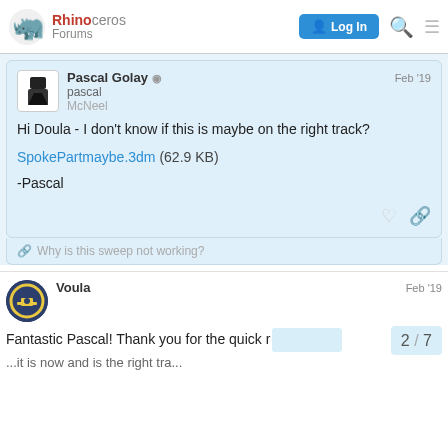Rhinoceros Forums | Log In
Pascal Golay ◉ moderator | pascal | McNeel | Feb '19
Hi Doula - I don't know if this is maybe on the right track?
SpokePartmaybe.3dm (62.9 KB)
-Pascal
Why is this sweep not working?
Voula | Feb '19
Fantastic Pascal! Thank you for the quick r... it is now and is the right tra...
2 / 7